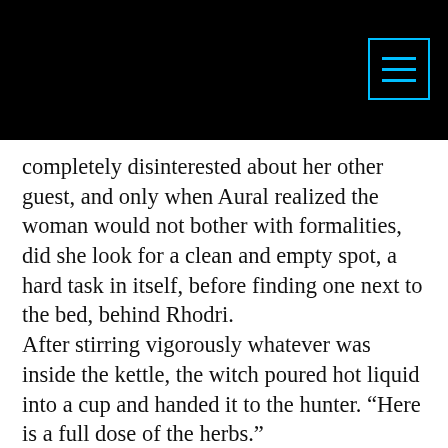completely disinterested about her other guest, and only when Aural realized the woman would not bother with formalities, did she look for a clean and empty spot, a hard task in itself, before finding one next to the bed, behind Rhodri.
After stirring vigorously whatever was inside the kettle, the witch poured hot liquid into a cup and handed it to the hunter. “Here is a full dose of the herbs.”
“More powerful than the mix you gave me last time?” Taking the cup from her hands, Rhodri brought it to his lips, but stopped before drinking, smelling it instead.
“This is twice more effective.”
“All right, let’s see how it goes this time.” He took a sip, then looked at Myla again.